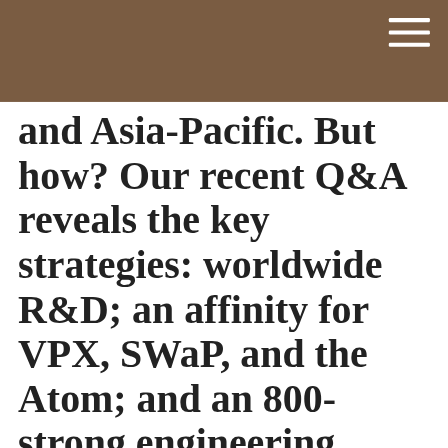and Asia-Pacific. But how? Our recent Q&A reveals the key strategies: worldwide R&D; an affinity for VPX, SWaP, and the Atom; and an 800-strong engineering staff. Edited
This website uses cookies to ensure you get the best experience on our website.
Learn More
Got it!